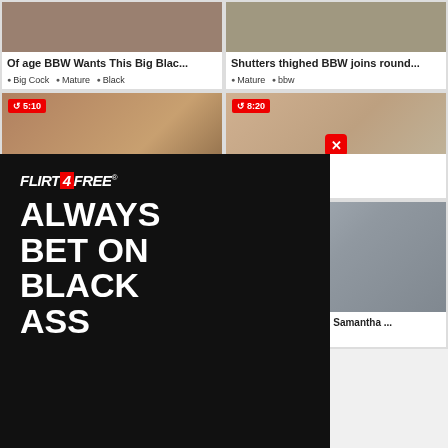[Figure (screenshot): Video thumbnail grid of adult content website showing video cards with titles, tags, duration badges, and an ad overlay for Flirt4Free]
Of age BBW Wants This Big Blac...
Big Cock · Mature · Black
Shutters thighed BBW joins round...
Mature · bbw
5:10
8:20
ITE MATURE Bore
g Ass · Mature
0:08
0:02
FLIRT4FREE
ALWAYS BET ON BLACK ASS
GET 120 FREE CREDITS
Mature BBW Kitty Nature masturd...
Mature · bbw
Mature BBW Old bag Samantha ...
Mature · bbw